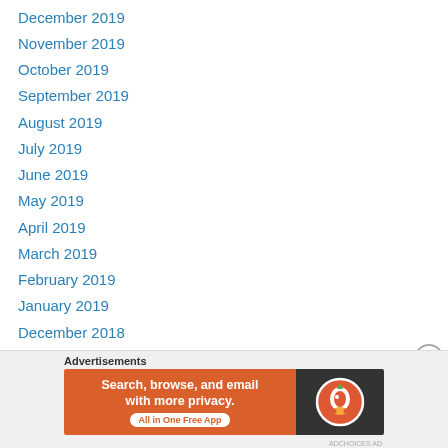December 2019
November 2019
October 2019
September 2019
August 2019
July 2019
June 2019
May 2019
April 2019
March 2019
February 2019
January 2019
December 2018
November 2018
October 2018
September 2018
Advertisements
[Figure (other): DuckDuckGo advertisement banner: 'Search, browse, and email with more privacy. All in One Free App' with DuckDuckGo logo on dark background.]